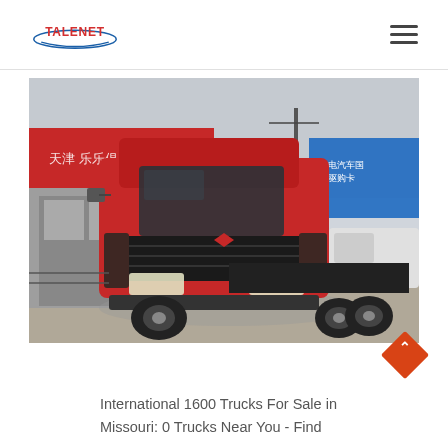TALENET
[Figure (photo): A red heavy-duty tractor truck (Chinese brand) parked at a dealership yard with Chinese signage in the background. The truck is a 6x4 configuration with a sleeper cab, photographed from a front three-quarter angle.]
International 1600 Trucks For Sale in Missouri: 0 Trucks Near You - Find